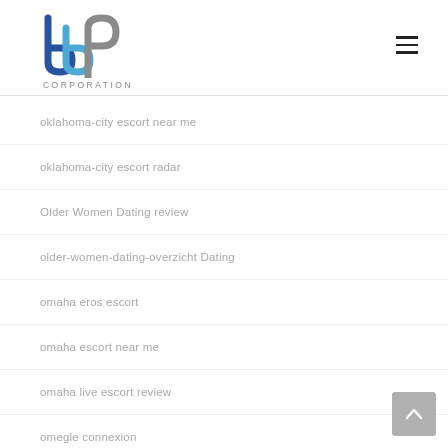[Figure (logo): bbp Corporation logo with blue and grey lettering]
oklahoma-city escort near me
oklahoma-city escort radar
Older Women Dating review
older-women-dating-overzicht Dating
omaha eros escort
omaha escort near me
omaha live escort review
omegle connexion
omegle erfahrung
Omegle review